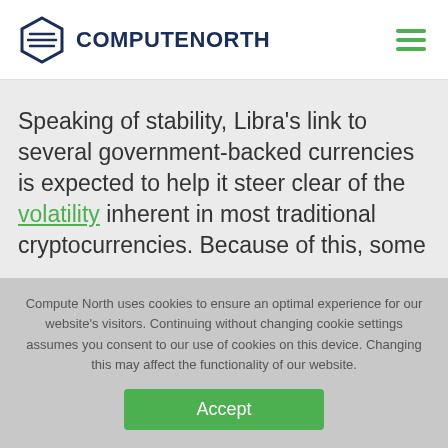COMPUTE NORTH
Speaking of stability, Libra’s link to several government-backed currencies is expected to help it steer clear of the volatility inherent in most traditional cryptocurrencies. Because of this, some
Compute North uses cookies to ensure an optimal experience for our website’s visitors. Continuing without changing cookie settings assumes you consent to our use of cookies on this device. Changing this may affect the functionality of our website.
Accept